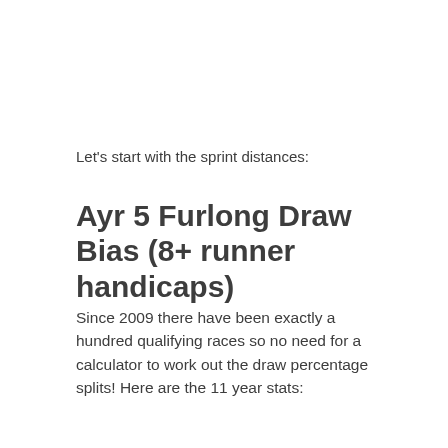Let's start with the sprint distances:
Ayr 5 Furlong Draw Bias (8+ runner handicaps)
Since 2009 there have been exactly a hundred qualifying races so no need for a calculator to work out the draw percentage splits! Here are the 11 year stats: